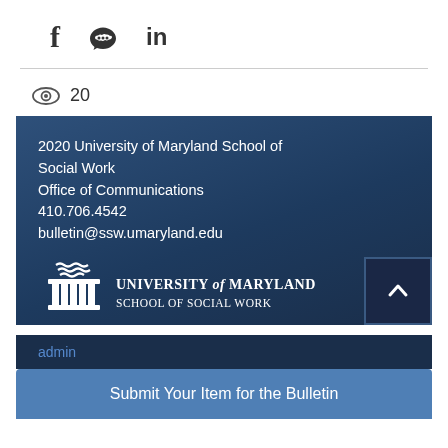[Figure (infographic): Social sharing icons: Facebook (f), Twitter (bird), LinkedIn (in)]
20
2020 University of Maryland School of Social Work
Office of Communications
410.706.4542
bulletin@ssw.umaryland.edu
[Figure (logo): University of Maryland School of Social Work logo with column icon]
admin
Submit Your Item for the Bulletin